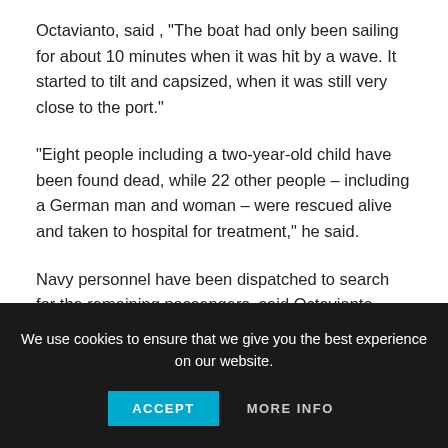Octavianto, said , “The boat had only been sailing for about 10 minutes when it was hit by a wave. It started to tilt and capsized, when it was still very close to the port.”
"Eight people including a two-year-old child have been found dead, while 22 other people – including a German man and woman – were rescued alive and taken to hospital for treatment," he said.
Navy personnel have been dispatched to search for the remaining passengers, said Octavianto. However, passenger manifests in the region hardly have record of all passengers on
We use cookies to ensure that we give you the best experience on our website.
ACCEPT
MORE INFO